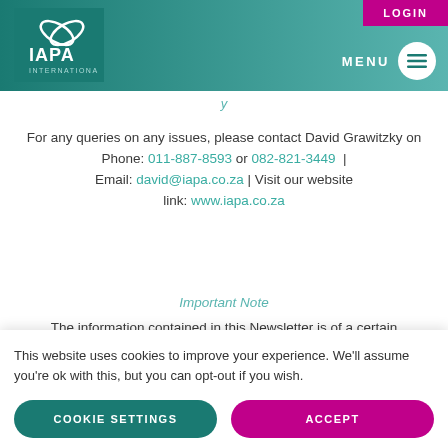[Figure (logo): IAPA International logo on teal gradient header with LOGIN button and MENU icon]
For any queries on any issues, please contact David Grawitzky on
Phone: 011-887-8593 or 082-821-3449 |
Email: david@iapa.co.za | Visit our website link: www.iapa.co.za
Important Note
The information contained in this Newsletter is of a certain
This website uses cookies to improve your experience. We'll assume you're ok with this, but you can opt-out if you wish.